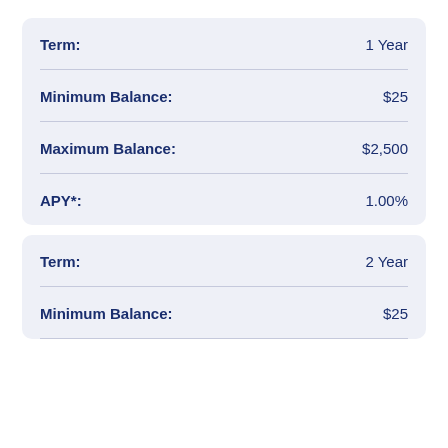| Field | Value |
| --- | --- |
| Term: | 1 Year |
| Minimum Balance: | $25 |
| Maximum Balance: | $2,500 |
| APY*: | 1.00% |
| Field | Value |
| --- | --- |
| Term: | 2 Year |
| Minimum Balance: | $25 |